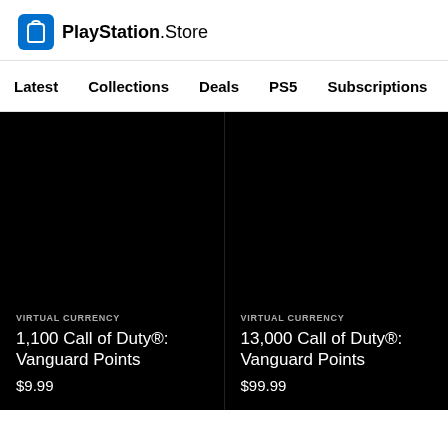PlayStation.Store
Latest
Collections
Deals
PS5
Subscriptions
[Figure (screenshot): PlayStation Store product listing screenshot showing two virtual currency items on black background]
VIRTUAL CURRENCY
1,100 Call of Duty®: Vanguard Points
$9.99
VIRTUAL CURRENCY
13,000 Call of Duty®: Vanguard Points
$99.99